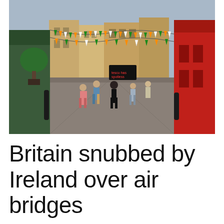[Figure (photo): A pedestrian street in Dublin, Ireland, decorated with Irish tricolour bunting flags in green, white, and orange strung overhead. People walk along a cobblestone pedestrian zone flanked by storefronts including red-painted pub facades on the right and green-painted shopfronts on the left. Potted trees and bollards line the street.]
Britain snubbed by Ireland over air bridges